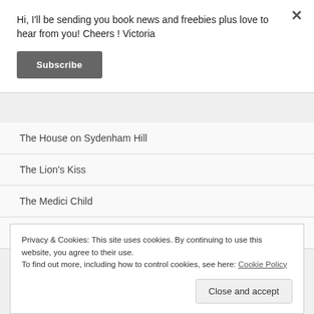Hi, I'll be sending you book news and freebies plus love to hear from you! Cheers ! Victoria
Subscribe
The House on Sydenham Hill
The Lion's Kiss
The Medici Child
The Nowhere Girl
Privacy & Cookies: This site uses cookies. By continuing to use this website, you agree to their use.
To find out more, including how to control cookies, see here: Cookie Policy
Close and accept